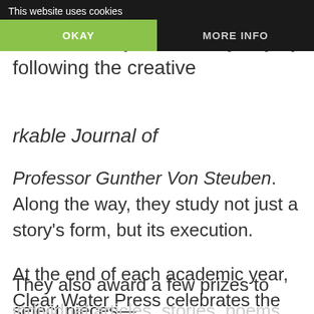many other short pieces. They also learn to journal every day by following the creative
rkable Journal of Professor Gunther Von Steuben. Along the way, they study not just a story’s form, but its execution.
At the end of each academic year, Clear Water Press celebrates the work and artistry of their students Magazine Showcase through their Finish Line contest. The first-place winner will receive a $25 Amazon gift card!
They also award a few prizes to select pieces—individual articles, stories, poems, and the like